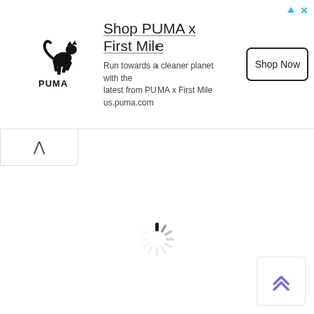[Figure (screenshot): PUMA advertisement banner. Shows PUMA logo on left, headline 'Shop PUMA x First Mile', subtext 'Run towards a cleaner planet with the latest from PUMA x First Mile us.puma.com', and a 'Shop Now' button on right. Top-right has navigation arrow and close (x) icons in light blue.]
[Figure (screenshot): A collapse/minimize chevron tab below the ad banner, showing an upward caret (^) symbol on a white rounded box.]
[Figure (screenshot): Loading spinner (circular animated indicator) centered in the white content area below the ad.]
[Figure (screenshot): Scroll-to-top button in bottom-right corner showing double upward chevron arrows in purple/violet color on white background.]